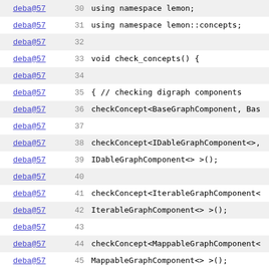[Figure (screenshot): Source code viewer showing C++ code lines 30-52 with author annotations (deba@57, deba@109) and line numbers. Code shows check_concepts() function with checkConcept calls for various graph components.]